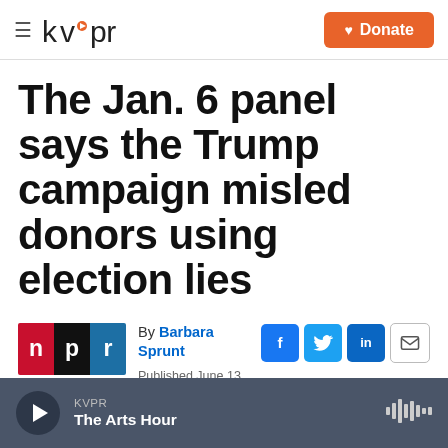kvpr | Donate
The Jan. 6 panel says the Trump campaign misled donors using election lies
By Barbara Sprunt
Published June 13, 2022 at 12:28 PM PDT
KVPR The Arts Hour